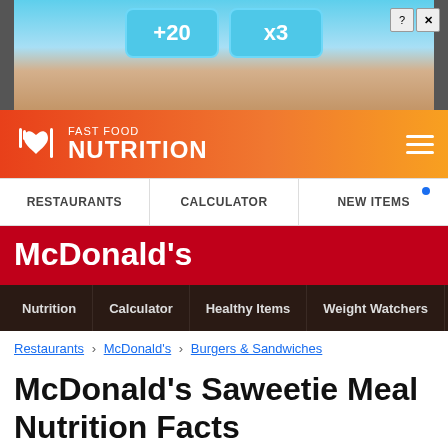[Figure (screenshot): Advertisement banner with +20 and x3 badges on a game-like background with blue and wood tones, with close controls]
FAST FOOD NUTRITION — site header with logo
RESTAURANTS   CALCULATOR   NEW ITEMS
McDonald's
Nutrition   Calculator   Healthy Items   Weight Watchers   Popular Items
Restaurants › McDonald's › Burgers & Sandwiches
McDonald's Saweetie Meal Nutrition Facts
For a limited time, fans of rapper Saweetie can snag her favorite
[Figure (photo): The Saweetie Meal promotional image with burger, fries, and drink]